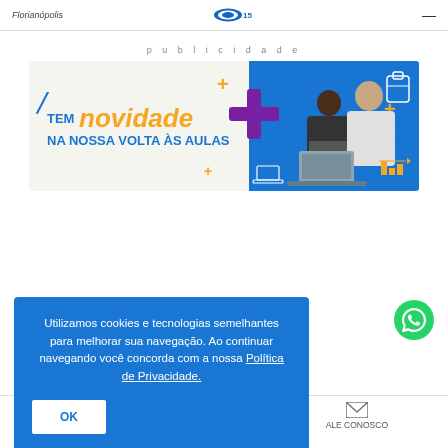Florianópolis
publicidade
[Figure (illustration): Advertisement banner: 'TEM novidade NA NOSSA VOLTA ÀS AULAS' with school/back-to-school theme, student and teacher with laptop, colorful shapes on blue background]
[Figure (infographic): Cookie consent dialog: 'Utilizamos cookies e tecnologias semelhantes para melhorar sua navegação. Ao continuar navegando você concorda com a nossa Política de Privacidade.' with OK button]
[Figure (illustration): WhatsApp contact button (green circle with WhatsApp icon)]
ALE CONOSCO